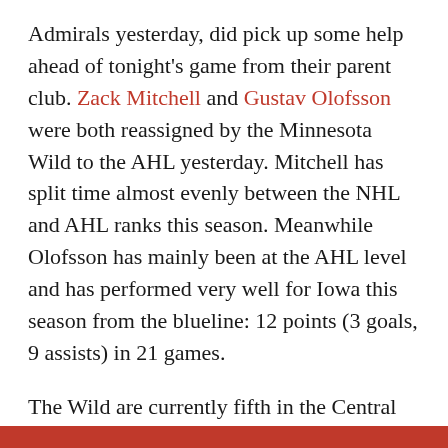Admirals yesterday, did pick up some help ahead of tonight's game from their parent club. Zack Mitchell and Gustav Olofsson were both reassigned by the Minnesota Wild to the AHL yesterday. Mitchell has split time almost evenly between the NHL and AHL ranks this season. Meanwhile Olofsson has mainly been at the AHL level and has performed very well for Iowa this season from the blueline: 12 points (3 goals, 9 assists) in 21 games.
The Wild are currently fifth in the Central Division with a record of 10-11-1-1 (22 points, 0.478 points percentage). They have played four more games than the Admirals have to